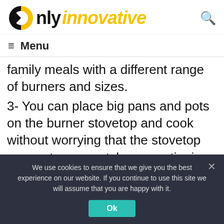Only innovative
≡ Menu
family meals with a different range of burners and sizes.
3- You can place big pans and pots on the burner stovetop and cook without worrying that the stovetop may get any scratch or questioning its durability
We use cookies to ensure that we give you the best experience on our website. If you continue to use this site we will assume that you are happy with it.